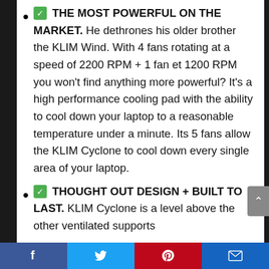✅ THE MOST POWERFUL ON THE MARKET. He dethrones his older brother the KLIM Wind. With 4 fans rotating at a speed of 2200 RPM + 1 fan et 1200 RPM you won't find anything more powerful? It's a high performance cooling pad with the ability to cool down your laptop to a reasonable temperature under a minute. Its 5 fans allow the KLIM Cyclone to cool down every single area of your laptop.
✅ THOUGHT OUT DESIGN + BUILT TO LAST. KLIM Cyclone is a level above the other ventilated supports